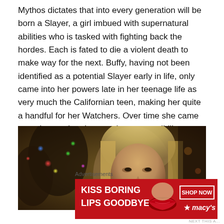Mythos dictates that into every generation will be born a Slayer, a girl imbued with supernatural abilities who is tasked with fighting back the hordes. Each is fated to die a violent death to make way for the next. Buffy, having not been identified as a potential Slayer early in life, only came into her powers late in her teenage life as very much the Californian teen, making her quite a handful for her Watchers. Over time she came to understand and accept her responsibility.
[Figure (photo): Dark scene showing a blonde young woman (Buffy) against a background with bokeh colored lights resembling a Christmas tree]
Advertisements
[Figure (photo): Advertisement banner: 'KISS BORING LIPS GOODBYE' with a woman's face showing red lips, SHOP NOW button, and Macy's star logo on red background]
NEXT THIS A...